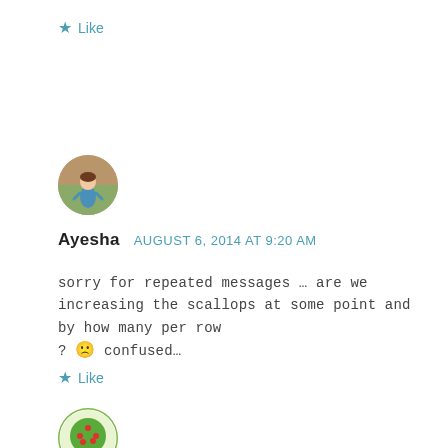★ Like
[Figure (illustration): Circular avatar with illustrated figure of a girl in blue dress]
Ayesha  AUGUST 6, 2014 AT 9:20 AM
sorry for repeated messages … are we increasing the scallops at some point and by how many per row ? 🙁 confused…
★ Like
[Figure (illustration): Circular avatar with illustrated apple tree]